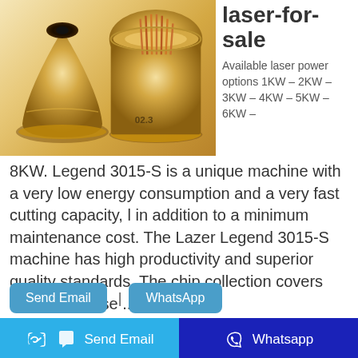[Figure (photo): Two gold-colored laser cutting nozzles photographed close-up. Left nozzle is single conical shape, right nozzle shows internal copper-colored fibers/wires with marking '02.3'.]
laser-for-sale
Available laser power options 1KW – 2KW – 3KW – 4KW – 5KW – 6KW – 8KW. Legend 3015-S is a unique machine with a very low energy consumption and a very fast cutting capacity, l in addition to a minimum maintenance cost. The Lazer Legend 3015-S machine has high productivity and superior quality standards. The chip collection covers open and close ...
Send Email | WhatsApp
Send Email
Whatsapp